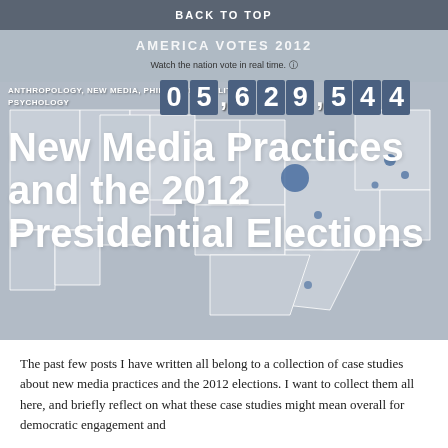BACK TO TOP
[Figure (screenshot): America Votes 2012 interactive map showing US states in gray with blue dots marking voter activity. Counter shows 05,629,544. Tagline: Watch the nation vote in real time.]
ANTHROPOLOGY, NEW MEDIA, PHILOSOPHY, POLITICS, PSYCHOLOGY
New Media Practices and the 2012 Presidential Elections
The past few posts I have written all belong to a collection of case studies about new media practices and the 2012 elections. I want to collect them all here, and briefly reflect on what these case studies might mean overall for democratic engagement and